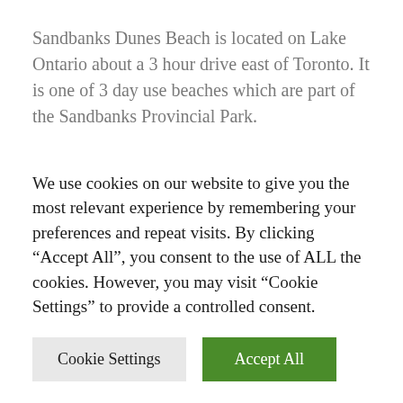Sandbanks Dunes Beach is located on Lake Ontario about a 3 hour drive east of Toronto. It is one of 3 day use beaches which are part of the Sandbanks Provincial Park.
It cost $21 for the day to use the beach and picnic area if you aren't camping. If you do want to camp at the Sandbanks campground, you almost always need to book months in advance. This is one of the
We use cookies on our website to give you the most relevant experience by remembering your preferences and repeat visits. By clicking “Accept All”, you consent to the use of ALL the cookies. However, you may visit "Cookie Settings" to provide a controlled consent.